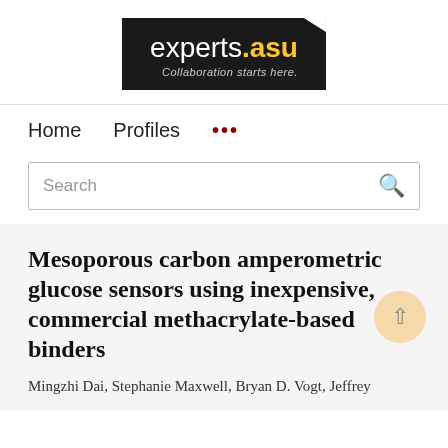[Figure (logo): experts.asu logo — dark rectangle with white text 'experts' and yellow '.asu', tagline 'Collaboration starts here.']
Home   Profiles   ...
Search
Mesoporous carbon amperometric glucose sensors using inexpensive, commercial methacrylate-based binders
Mingzhi Dai, Stephanie Maxwell, Bryan D. Vogt, Jeffrey